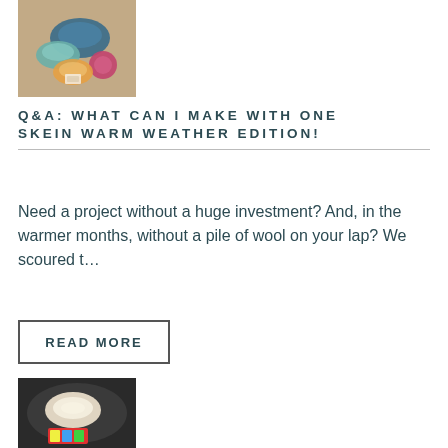[Figure (photo): Colorful yarn skeins arranged on a wooden surface, featuring blue, teal, pink, and multi-colored yarns]
Q&A: WHAT CAN I MAKE WITH ONE SKEIN WARM WEATHER EDITION!
Need a project without a huge investment? And, in the warmer months, without a pile of wool on your lap? We scoured t…
READ MORE
[Figure (photo): A skein of cream/natural colored yarn next to a colorful candy package, photographed in a dark bowl or surface]